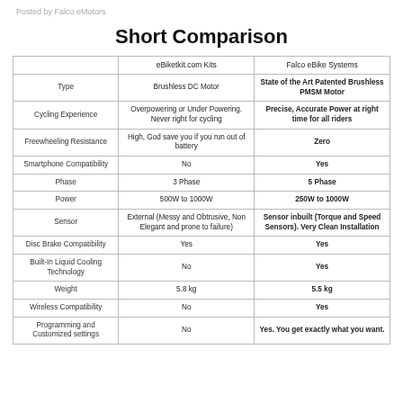Posted by Falco eMotors
Short Comparison
|  | eBiketkit.com Kits | Falco eBike Systems |
| --- | --- | --- |
| Type | Brushless DC Motor | State of the Art Patented Brushless PMSM Motor |
| Cycling Experience | Overpowering or Under Powering. Never right for cycling | Precise, Accurate Power at right time for all riders |
| Freewheeling Resistance | High, God save you if you run out of battery | Zero |
| Smartphone Compatibility | No | Yes |
| Phase | 3 Phase | 5 Phase |
| Power | 500W to 1000W | 250W to 1000W |
| Sensor | External (Messy and Obtrusive, Non Elegant and prone to failure) | Sensor inbuilt (Torque and Speed Sensors). Very Clean Installation |
| Disc Brake Compatibility | Yes | Yes |
| Built-In Liquid Cooling Technology | No | Yes |
| Weight | 5.8 kg | 5.5 kg |
| Wireless Compatibility | No | Yes |
| Programming and Customized settings | No | Yes. You get exactly what you want. |